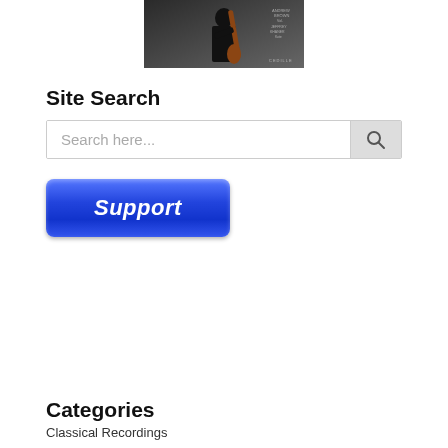[Figure (photo): Person holding a stringed instrument (cello or bass), wearing black, photographed outdoors. Album or promotional cover image with text overlay partially visible.]
Site Search
[Figure (screenshot): Search bar with placeholder text 'Search here...' and a magnifying glass search button on the right.]
[Figure (other): Blue rounded rectangle button with italic bold white text 'Support']
Categories
Classical Recordings